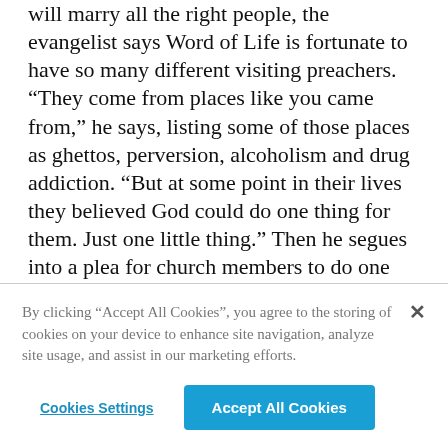will marry all the right people, the evangelist says Word of Life is fortunate to have so many different visiting preachers. “They come from places like you came from,” he says, listing some of those places as ghettos, perversion, alcoholism and drug addiction. “But at some point in their lives they believed God could do one thing for them. Just one little thing.” Then he segues into a plea for church members to do one little thing for God: increase the percentage of their tithes.
8:22 p.m.
By clicking “Accept All Cookies”, you agree to the storing of cookies on your device to enhance site navigation, analyze site usage, and assist in our marketing efforts.